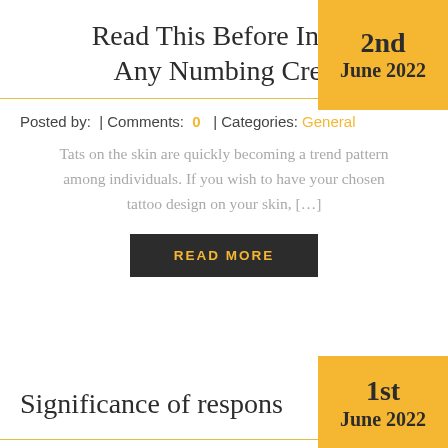Read This Before Investing Any Numbing Cream
Posted by:  | Comments:  0  | Categories:  General
Tats on the skin are quickly becoming a trend pattern among individuals. If you wish to have your chosen tattoo design on your skin, […]
READ MORE
Significance of response